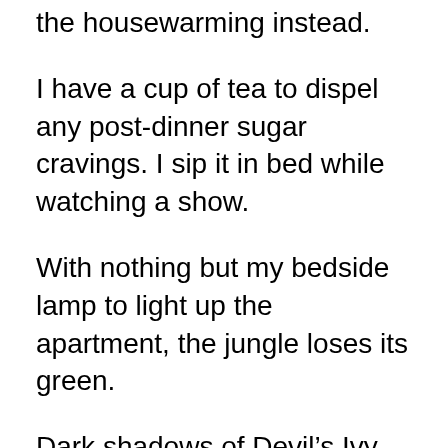the housewarming instead.
I have a cup of tea to dispel any post-dinner sugar cravings. I sip it in bed while watching a show.
With nothing but my bedside lamp to light up the apartment, the jungle loses its green.
Dark shadows of Devil’s Ivy curve over my fresh white sheets, and when I lean onto my pillows, I hear the squishy crack of a stem beneath me.
I reach over to my bedside and finally turn my phone back on. Seven missed calls sit from my mother, a flurry of text message notifications beneath. I turn it off and put it back on the